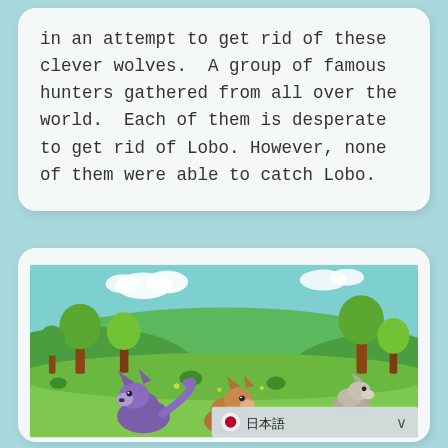in an attempt to get rid of these clever wolves.  A group of famous hunters gathered from all over the world.  Each of them is desperate to get rid of Lobo. However, none of them were able to catch Lobo.
[Figure (illustration): An illustrated scene showing animated wolf-like cartoon characters in a green meadow with trees and a blue sky with white clouds. In the foreground, a purple wolf and a brown wolf are interacting. A grey wolf runs in the right background. A Japanese language selector bar (日本語) is overlaid at the bottom right.]